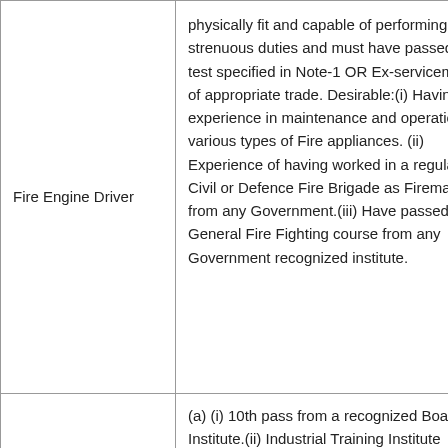| Fire Engine Driver | physically fit and capable of performing strenuous duties and must have passed the test specified in Note-1 OR Ex-serviceman of appropriate trade. Desirable:(i) Having experience in maintenance and operation of various types of Fire appliances. (ii) Experience of having worked in a regular Civil or Defence Fire Brigade as Fireman from any Government.(iii) Have passed the General Fire Fighting course from any Government recognized institute. |
| EMT (Fitter | (a) (i) 10th pass from a recognized Board or Institute.(ii) Industrial Training Institute Certificate in the |